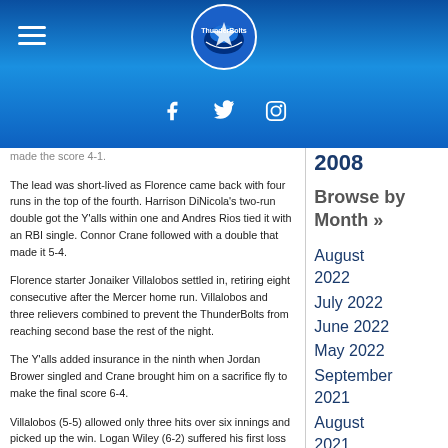ThunderBolts website header with navigation hamburger menu, logo, Facebook, Twitter, Instagram icons
made the score 4-1.
The lead was short-lived as Florence came back with four runs in the top of the fourth. Harrison DiNicola's two-run double got the Y'alls within one and Andres Rios tied it with an RBI single. Connor Crane followed with a double that made it 5-4.
Florence starter Jonaiker Villalobos settled in, retiring eight consecutive after the Mercer home run. Villalobos and three relievers combined to prevent the ThunderBolts from reaching second base the rest of the night.
The Y'alls added insurance in the ninth when Jordan Brower singled and Crane brought him on a sacrifice fly to make the final score 6-4.
Villalobos (5-5) allowed only three hits over six innings and picked up the win. Logan Wiley (6-2) suffered his first loss since July 9, lasting six innings and giving up five runs.
2008
Browse by Month »
August 2022
July 2022
June 2022
May 2022
September 2021
August 2021
July 2021
June 2021